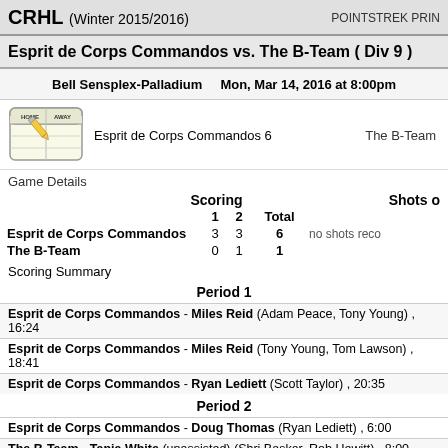CRHL (Winter 2015/2016)   POINTSTREK PRINT
Esprit de Corps Commandos vs. The B-Team ( Div 9 )
Bell Sensplex-Palladium   Mon, Mar 14, 2016 at 8:00pm
[Figure (illustration): Scorebook icon with HOME/AWAY columns and pencil]
Esprit de Corps Commandos 6   The B-Team
Game Details
|  | 1 | 2 | Total | Shots |
| --- | --- | --- | --- | --- |
| Esprit de Corps Commandos | 3 | 3 | 6 | no shots reco... |
| The B-Team | 0 | 1 | 1 |  |
Scoring Summary
Period 1
Esprit de Corps Commandos - Miles Reid (Adam Peace, Tony Young) , 16:24
Esprit de Corps Commandos - Miles Reid (Tony Young, Tom Lawson) , 18:41
Esprit de Corps Commandos - Ryan Lediett (Scott Taylor) , 20:35
Period 2
Esprit de Corps Commandos - Doug Thomas (Ryan Lediett) , 6:00
The B-Team - Tania White (...) (Shri Baskar, Rob Hewitt) , 8:00